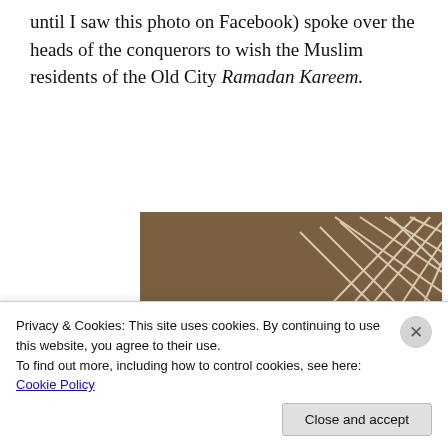until I saw this photo on Facebook) spoke over the heads of the conquerors to wish the Muslim residents of the Old City Ramadan Kareem.
[Figure (photo): A banner or flag showing black silhouettes of two figures on the left against a Palestinian flag background (green, red, black, white colors) and two blue silhouettes of human figures on the right against a white background, photographed indoors with a Star of David design visible in the upper right corner.]
Privacy & Cookies: This site uses cookies. By continuing to use this website, you agree to their use. To find out more, including how to control cookies, see here: Cookie Policy